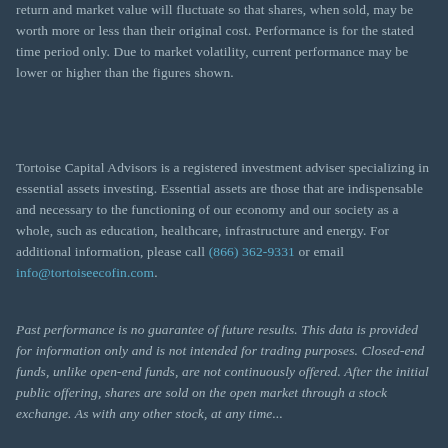return and market value will fluctuate so that shares, when sold, may be worth more or less than their original cost. Performance is for the stated time period only. Due to market volatility, current performance may be lower or higher than the figures shown.
Tortoise Capital Advisors is a registered investment adviser specializing in essential assets investing. Essential assets are those that are indispensable and necessary to the functioning of our economy and our society as a whole, such as education, healthcare, infrastructure and energy. For additional information, please call (866) 362-9331 or email info@tortoiseecofin.com.
Past performance is no guarantee of future results. This data is provided for information only and is not intended for trading purposes. Closed-end funds, unlike open-end funds, are not continuously offered. After the initial public offering, shares are sold on the open market through a stock exchange. As with any other stock, at any time...